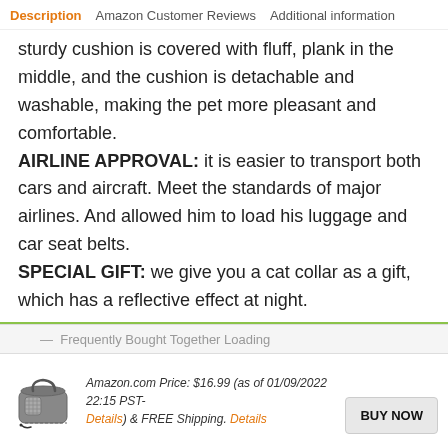Description  Amazon Customer Reviews  Additional information
sturdy cushion is covered with fluff, plank in the middle, and the cushion is detachable and washable, making the pet more pleasant and comfortable. AIRLINE APPROVAL: it is easier to transport both cars and aircraft. Meet the standards of major airlines. And allowed him to load his luggage and car seat belts. SPECIAL GIFT: we give you a cat collar as a gift, which has a reflective effect at night.
Frequently Bought Together Loading
Amazon.com Price: $16.99 (as of 01/09/2022 22:15 PST- Details) & FREE Shipping. Details
[Figure (other): Product image of a pet carrier bag]
BUY NOW